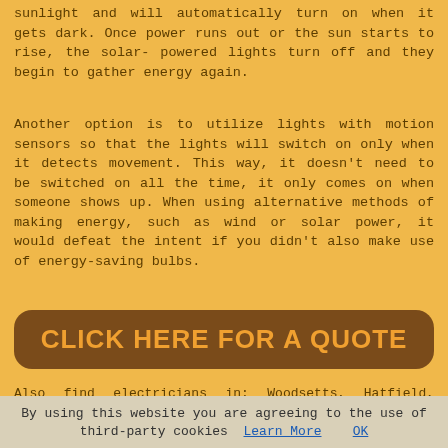sunlight and will automatically turn on when it gets dark. Once power runs out or the sun starts to rise, the solar-powered lights turn off and they begin to gather energy again.
Another option is to utilize lights with motion sensors so that the lights will switch on only when it detects movement. This way, it doesn't need to be switched on all the time, it only comes on when someone shows up. When using alternative methods of making energy, such as wind or solar power, it would defeat the intent if you didn't also make use of energy-saving bulbs.
[Figure (other): Brown rounded rectangle button with orange bold uppercase text reading CLICK HERE FOR A QUOTE]
Also find electricians in: Woodsetts, Hatfield, Staincross, Laughton En Le Morthen, Wath Upon Dearne, Moss, Mapplewell, Thorpe Hesley, Greenhill, Deepcar, High Green, Denaby, West Melton, Adwick Le Street, Hooton Levitt, Brinsworth, Silkstone, Clayton, Thurnscoe, Barnburgh, Low Bradfield, Denaby Main, Rotherham, Stocksbridge, Upper Midhope, Grimethorpe, Kirk Bramwith, Marr, Armthorpe, Wickersley, Stannington, Cudworth, Wentworth, Ravenfield, Stainton and
By using this website you are agreeing to the use of third-party cookies  Learn More   OK